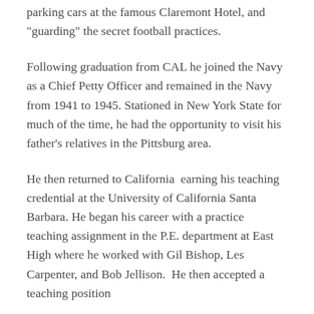parking cars at the famous Claremont Hotel, and "guarding" the secret football practices.
Following graduation from CAL he joined the Navy as a Chief Petty Officer and remained in the Navy from 1941 to 1945. Stationed in New York State for much of the time, he had the opportunity to visit his father's relatives in the Pittsburg area.
He then returned to California  earning his teaching credential at the University of California Santa Barbara. He began his career with a practice teaching assignment in the P.E. department at East High where he worked with Gil Bishop, Les Carpenter, and Bob Jellison.  He then accepted a teaching position